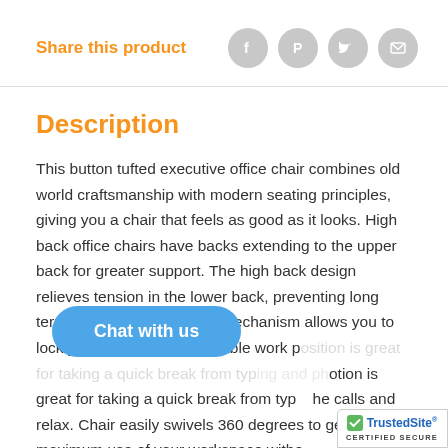Share this product
[Figure (infographic): Social share icons: Facebook, Pinterest, Twitter, Email — grey circular buttons]
Description
This button tufted executive office chair combines old world craftsmanship with modern seating principles, giving you a chair that feels as good as it looks. High back office chairs have backs extending to the upper back for greater support. The high back design relieves tension in the lower back, preventing long term strain. The locking tilt mechanism allows you to lock your chair in a comfortable work position is great for taking a quick break from typing and phone calls and relax. Chair easily swivels 360 degrees to get the maximum use of your workspace witho...
[Figure (other): Chat with us blue oval button overlay]
[Figure (logo): TrustedSite CERTIFIED SECURE badge, bottom right corner]